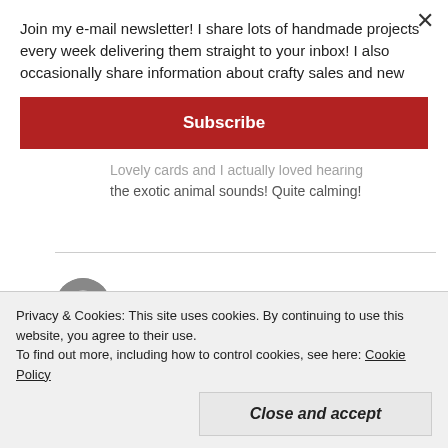Join my e-mail newsletter! I share lots of handmade projects every week delivering them straight to your inbox! I also occasionally share information about crafty sales and new
Subscribe
Lovely cards and I actually loved hearing the exotic animal sounds! Quite calming!
Andrea La Vigne
Reply
FEBRUARY 22, 2016
Privacy & Cookies: This site uses cookies. By continuing to use this website, you agree to their use.
To find out more, including how to control cookies, see here: Cookie Policy
Close and accept